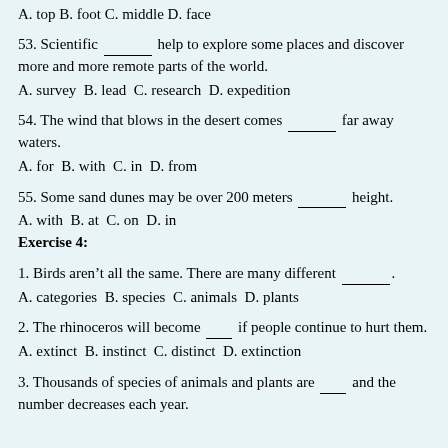A. top B. foot C. middle D. face
53. Scientific ________ help to explore some places and discover more and more remote parts of the world.
A. survey B. lead C. research D. expedition
54. The wind that blows in the desert comes ________ far away waters.
A. for B. with C. in D. from
55. Some sand dunes may be over 200 meters ________ height.
A. with B. at C. on D. in
Exercise 4:
1. Birds aren't all the same. There are many different _____.
A. categories B. species C. animals D. plants
2. The rhinoceros will become ___ if people continue to hurt them.
A. extinct B. instinct C. distinct D. extinction
3. Thousands of species of animals and plants are ____ and the number decreases each year.